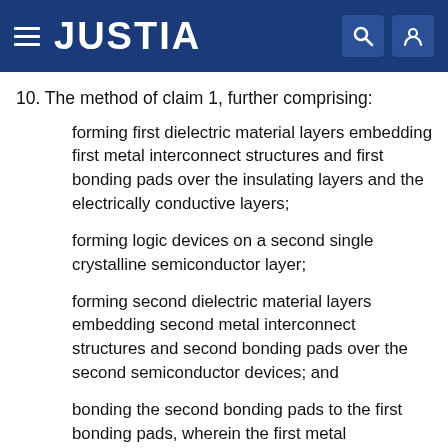JUSTIA
10. The method of claim 1, further comprising:
forming first dielectric material layers embedding first metal interconnect structures and first bonding pads over the insulating layers and the electrically conductive layers;
forming logic devices on a second single crystalline semiconductor layer;
forming second dielectric material layers embedding second metal interconnect structures and second bonding pads over the second semiconductor devices; and
bonding the second bonding pads to the first bonding pads, wherein the first metal interconnect structures, the second metal interconnect